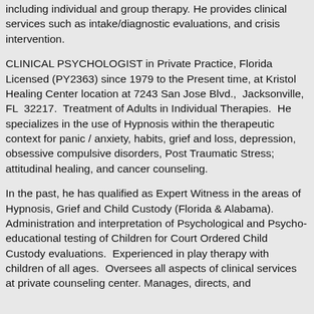including individual and group therapy. He provides clinical services such as intake/diagnostic evaluations, and crisis intervention.
CLINICAL PSYCHOLOGIST in Private Practice, Florida Licensed (PY2363) since 1979 to the Present time, at Kristol Healing Center location at 7243 San Jose Blvd., Jacksonville, FL 32217. Treatment of Adults in Individual Therapies. He specializes in the use of Hypnosis within the therapeutic context for panic / anxiety, habits, grief and loss, depression, obsessive compulsive disorders, Post Traumatic Stress; attitudinal healing, and cancer counseling.
In the past, he has qualified as Expert Witness in the areas of Hypnosis, Grief and Child Custody (Florida & Alabama). Administration and interpretation of Psychological and Psycho-educational testing of Children for Court Ordered Child Custody evaluations. Experienced in play therapy with children of all ages. Oversees all aspects of clinical services at private counseling center. Manages, directs, and